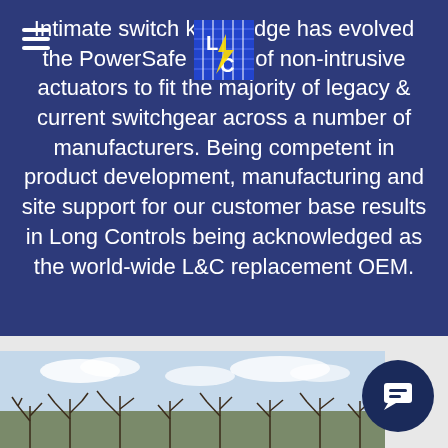[Figure (logo): Long Controls (LC) company logo — blue and white letters L and C with lightning bolt, stacked grid style]
Intimate switch knowledge has evolved the PowerSafe range of non-intrusive actuators to fit the majority of legacy & current switchgear across a number of manufacturers. Being competent in product development, manufacturing and site support for our customer base results in Long Controls being acknowledged as the world-wide L&C replacement OEM.
[Figure (photo): Outdoor winter photo showing bare trees against a sky with clouds, taken from ground level]